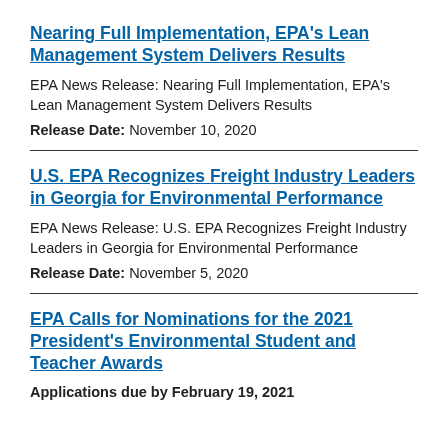Nearing Full Implementation, EPA's Lean Management System Delivers Results
EPA News Release: Nearing Full Implementation, EPA's Lean Management System Delivers Results
Release Date: November 10, 2020
U.S. EPA Recognizes Freight Industry Leaders in Georgia for Environmental Performance
EPA News Release: U.S. EPA Recognizes Freight Industry Leaders in Georgia for Environmental Performance
Release Date: November 5, 2020
EPA Calls for Nominations for the 2021 President's Environmental Student and Teacher Awards
Applications due by February 19, 2021